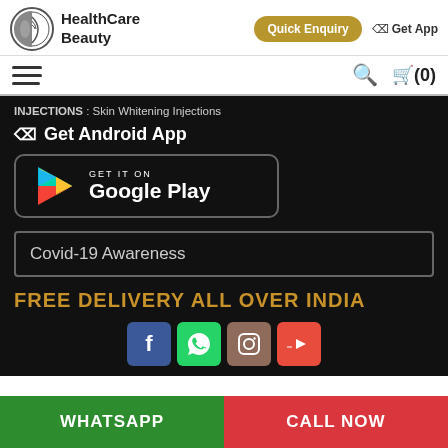[Figure (logo): HealthCare Beauty logo with circular emblem and brand name]
Quick Enquiry   Get App
[Figure (infographic): Navigation bar with hamburger menu, search icon, and cart icon showing (0)]
INJECTIONS : Skin Whitening Injections
Get Android App
[Figure (screenshot): GET IT ON Google Play badge]
Covid-19 Awareness
FREE DELIVERY ALL OVER INDIA
[Figure (infographic): Social media icons: Facebook, WhatsApp, Instagram, YouTube]
WHATSAPP
CALL NOW